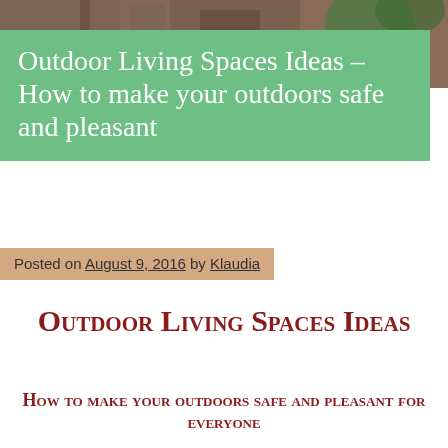[Figure (photo): Outdoor wicker furniture with red cushions and green plant, viewed from above]
Outdoor Living Spaces Ideas – How to make your outdoors safe and pleasant
Posted on August 9, 2016 by Klaudia
Outdoor Living Spaces Ideas
How to make your outdoors safe and pleasant for everyone